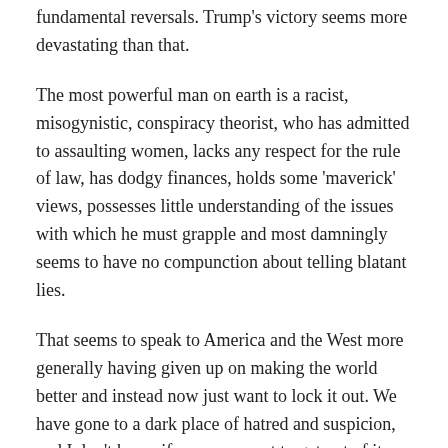fundamental reversals. Trump's victory seems more devastating than that.
The most powerful man on earth is a racist, misogynistic, conspiracy theorist, who has admitted to assaulting women, lacks any respect for the rule of law, has dodgy finances, holds some 'maverick' views, possesses little understanding of the issues with which he must grapple and most damningly seems to have no compunction about telling blatant lies.
That seems to speak to America and the West more generally having given up on making the world better and instead now just want to lock it out. We have gone to a dark place of hatred and suspicion, and I don't know if we even want to get out of it.